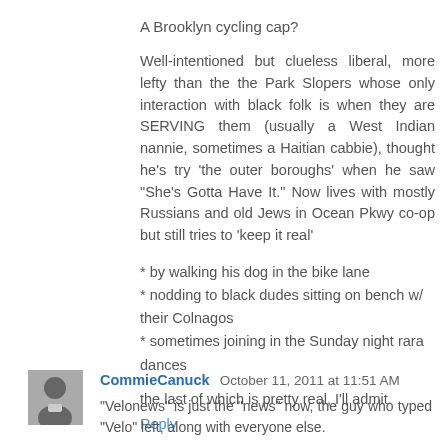A Brooklyn cycling cap?
Well-intentioned but clueless liberal, more lefty than the the Park Slopers whose only interaction with black folk is when they are SERVING them (usually a West Indian nannie, sometimes a Haitian cabbie), thought he's try 'the outer boroughs' when he saw "She's Gotta Have It." Now lives with mostly Russians and old Jews in Ocean Pkwy co-op but still tries to 'keep it real'
* by walking his dog in the bike lane
* nodding to black dudes sitting on bench w/ their Colnagos
* sometimes joining in the Sunday night rara dances
the last of which is pretty real, I'll admit.
Reply
CommieCanuck October 11, 2011 at 11:51 AM
"Velonews" is just the "news" now, the guy who typed "Velo" left, along with everyone else.